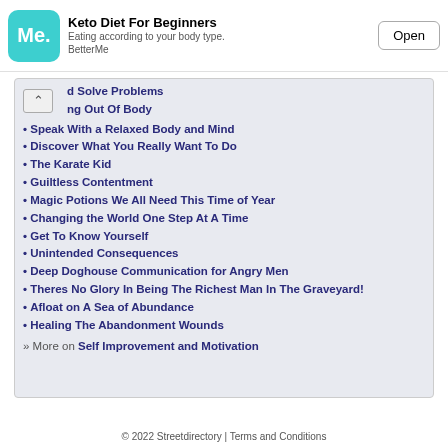[Figure (screenshot): App advertisement banner for 'Keto Diet For Beginners' by BetterMe with teal Me. icon and Open button]
d Solve Problems
ng Out Of Body
Speak With a Relaxed Body and Mind
Discover What You Really Want To Do
The Karate Kid
Guiltless Contentment
Magic Potions We All Need This Time of Year
Changing the World One Step At A Time
Get To Know Yourself
Unintended Consequences
Deep Doghouse Communication for Angry Men
Theres No Glory In Being The Richest Man In The Graveyard!
Afloat on A Sea of Abundance
Healing The Abandonment Wounds
» More on Self Improvement and Motivation
© 2022 Streetdirectory | Terms and Conditions